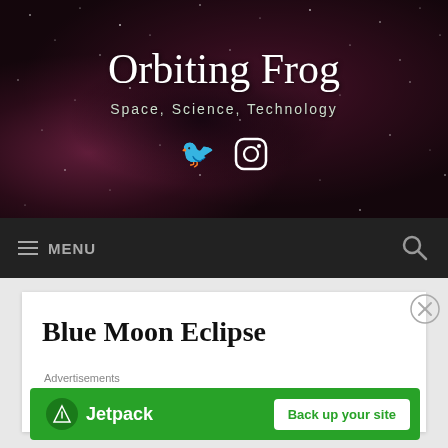[Figure (photo): Website header banner with nebula/space background image in pink and dark tones with stars]
Orbiting Frog
Space, Science, Technology
MENU
Blue Moon Eclipse
Advertisements
[Figure (logo): Jetpack advertisement banner with green background, Jetpack logo and 'Back up your site' button]